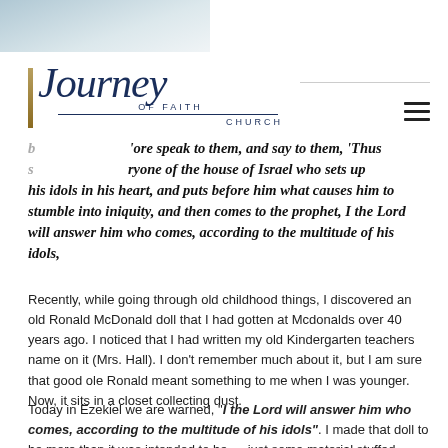[Figure (photo): Partial photo visible at top left corner of page, showing a light-colored blurry image]
[Figure (logo): Journey of Faith Church logo in navy blue script with decorative underline, 'OF FAITH' in small caps and 'CHURCH' to the right]
...fore speak to them, and say to them, 'Thus s...ryone of the house of Israel who sets up his idols in his heart, and puts before him what causes him to stumble into iniquity, and then comes to the prophet, I the Lord will answer him who comes, according to the multitude of his idols,
Recently, while going through old childhood things, I discovered an old Ronald McDonald doll that I had gotten at Mcdonalds over 40 years ago. I noticed that I had written my old Kindergarten teachers name on it (Mrs. Hall). I don't remember much about it, but I am sure that good ole Ronald meant something to me when I was younger. Now, it sits in a closet collecting dust.
Today in Ezekiel we are warned, "I the Lord will answer him who comes, according to the multitude of his idols". I made that doll to be more than it was intended to be — just some material stuffed